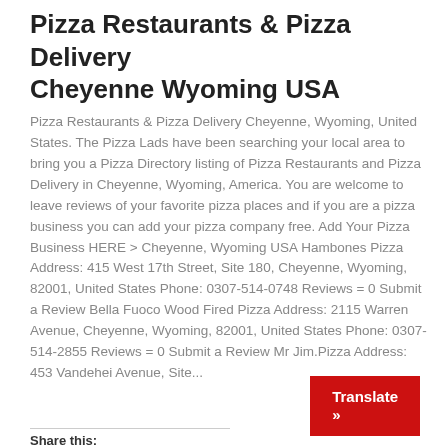Pizza Restaurants & Pizza Delivery Cheyenne Wyoming USA
Pizza Restaurants & Pizza Delivery Cheyenne, Wyoming, United States. The Pizza Lads have been searching your local area to bring you a Pizza Directory listing of Pizza Restaurants and Pizza Delivery in Cheyenne, Wyoming, America. You are welcome to leave reviews of your favorite pizza places and if you are a pizza business you can add your pizza company free. Add Your Pizza Business HERE > Cheyenne, Wyoming USA Hambones Pizza Address: 415 West 17th Street, Site 180, Cheyenne, Wyoming, 82001, United States Phone: 0307-514-0748 Reviews = 0 Submit a Review Bella Fuoco Wood Fired Pizza Address: 2115 Warren Avenue, Cheyenne, Wyoming, 82001, United States Phone: 0307-514-2855 Reviews = 0 Submit a Review Mr Jim.Pizza Address: 453 Vandehei Avenue, Site...
Share this: